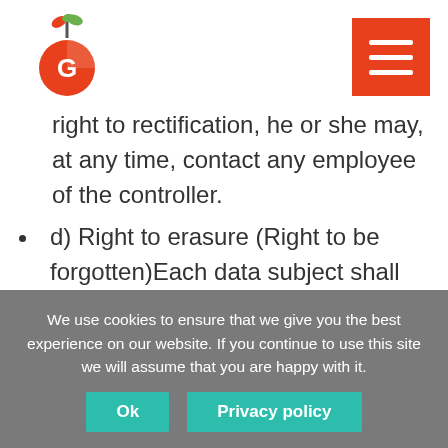Logo and navigation header
right to rectification, he or she may, at any time, contact any employee of the controller.
d) Right to erasure (Right to be forgotten)Each data subject shall have the right granted by the European legislator to obtain from the controller the erasure of personal data concerning him or her without undue delay, and the controller shall have the obligation to erase personal data without undue delay where one of the following grounds applies, as long as the processing is not necessary:
We use cookies to ensure that we give you the best experience on our website. If you continue to use this site we will assume that you are happy with it.